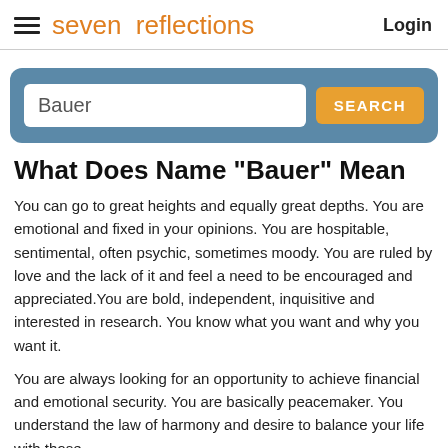seven reflections  Login
Bauer  SEARCH
What Does Name "Bauer" Mean
You can go to great heights and equally great depths. You are emotional and fixed in your opinions. You are hospitable, sentimental, often psychic, sometimes moody. You are ruled by love and the lack of it and feel a need to be encouraged and appreciated.You are bold, independent, inquisitive and interested in research. You know what you want and why you want it.
You are always looking for an opportunity to achieve financial and emotional security. You are basically peacemaker. You understand the law of harmony and desire to balance your life with those